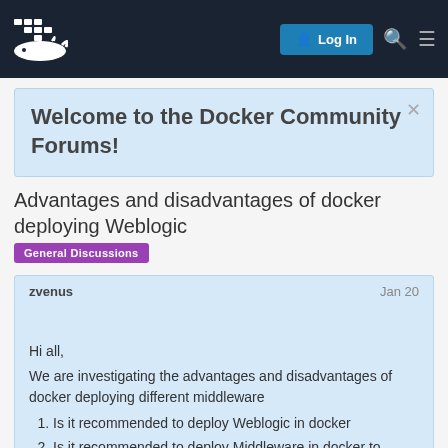Docker Community Forums — Log In
Welcome to the Docker Community Forums!
Advantages and disadvantages of docker deploying Weblogic
General Discussions
zvenus  Jan 20
Hi all,
We are investigating the advantages and disadvantages of docker deploying different middleware
Is it recommended to deploy Weblogic in docker
Is it recommended to deploy Middleware in docker to